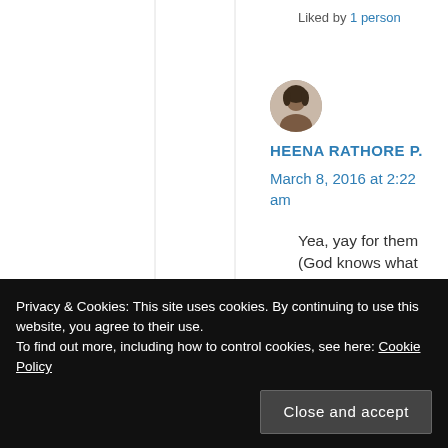Liked by 1 person
[Figure (photo): Circular avatar photo of Heena Rathore P.]
HEENA RATHORE P.
March 8, 2016 at 2:22 am
Yea, yay for them (God knows what we'd do
Privacy & Cookies: This site uses cookies. By continuing to use this website, you agree to their use.
To find out more, including how to control cookies, see here: Cookie Policy
Close and accept